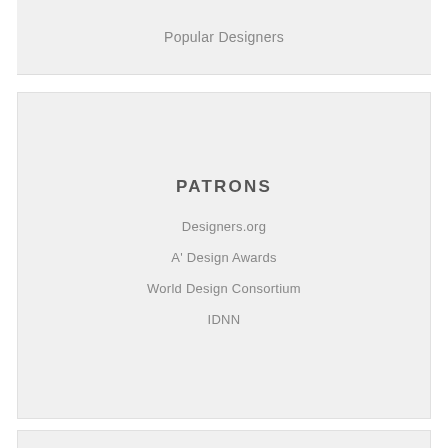Popular Designers
PATRONS
Designers.org
A' Design Awards
World Design Consortium
IDNN
DISCOVER
Design Newspaper